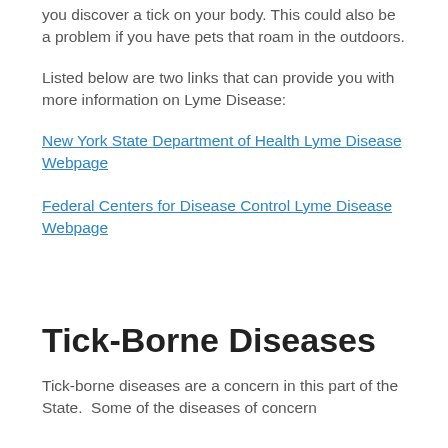you discover a tick on your body. This could also be a problem if you have pets that roam in the outdoors.
Listed below are two links that can provide you with more information on Lyme Disease:
New York State Department of Health Lyme Disease Webpage
Federal Centers for Disease Control Lyme Disease Webpage
Tick-Borne Diseases
Tick-borne diseases are a concern in this part of the State.  Some of the diseases of concern